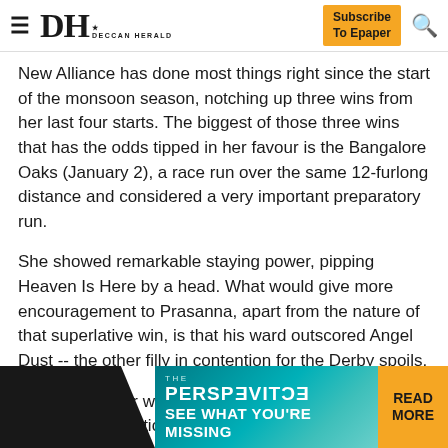DH DECCAN HERALD | Subscribe To Epaper
New Alliance has done most things right since the start of the monsoon season, notching up three wins from her last four starts. The biggest of those three wins that has the odds tipped in her favour is the Bangalore Oaks (January 2), a race run over the same 12-furlong distance and considered a very important preparatory run.
She showed remarkable staying power, pipping Heaven Is Here by a head. What would give more encouragement to Prasanna, apart from the nature of that superlative win, is that his ward outscored Angel Dust -- the other filly in contention for the Derby spoils.
The other major win came in the Karnataka Racehorse Owners' Association Mysore 1000 Guineas over 1600 metres.
[Figure (infographic): THE PERSPECTIVE advertisement banner with SEE WHAT YOU'RE MISSING tagline and READ MORE button]